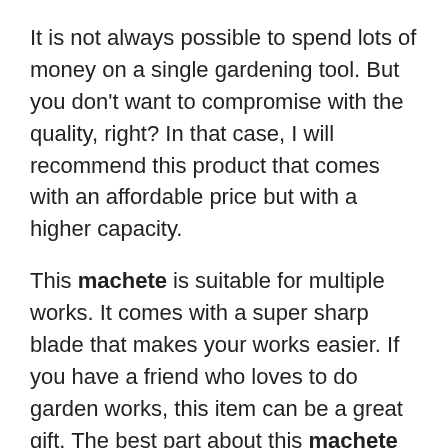It is not always possible to spend lots of money on a single gardening tool. But you don't want to compromise with the quality, right? In that case, I will recommend this product that comes with an affordable price but with a higher capacity.
This machete is suitable for multiple works. It comes with a super sharp blade that makes your works easier. If you have a friend who loves to do garden works, this item can be a great gift. The best part about this machete is, you can use it for a long time without any issues.
More Info / Buy on Amazon.com →
Features